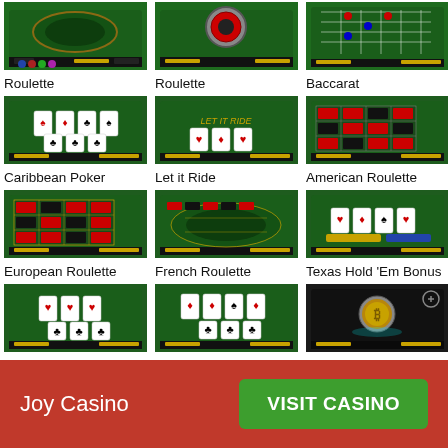[Figure (screenshot): Roulette game screenshot showing green table]
Roulette
[Figure (screenshot): Roulette game screenshot showing roulette wheel]
Roulette
[Figure (screenshot): Baccarat game screenshot showing green table]
Baccarat
[Figure (screenshot): Caribbean Poker game screenshot]
Caribbean Poker
[Figure (screenshot): Let it Ride game screenshot]
Let it Ride
[Figure (screenshot): American Roulette game screenshot]
American Roulette
[Figure (screenshot): European Roulette game screenshot]
European Roulette
[Figure (screenshot): French Roulette game screenshot]
French Roulette
[Figure (screenshot): Texas Hold Em Bonus game screenshot]
Texas Hold 'Em Bonus
[Figure (screenshot): Trey Poker game screenshot]
Trey Poker
[Figure (screenshot): Casino Hold Em game screenshot]
Casino Hold'Em
[Figure (screenshot): Heads and Tails game screenshot with Bitcoin coin]
Heads & Tails
Joy Casino
VISIT CASINO